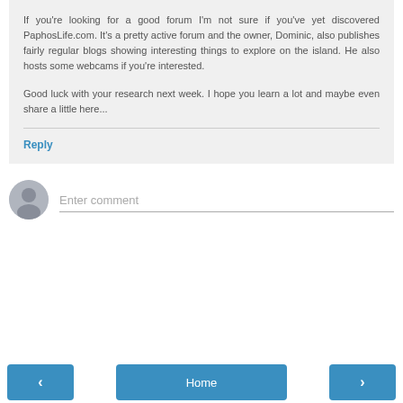If you're looking for a good forum I'm not sure if you've yet discovered PaphosLife.com. It's a pretty active forum and the owner, Dominic, also publishes fairly regular blogs showing interesting things to explore on the island. He also hosts some webcams if you're interested.

Good luck with your research next week. I hope you learn a lot and maybe even share a little here...
Reply
Enter comment
Home